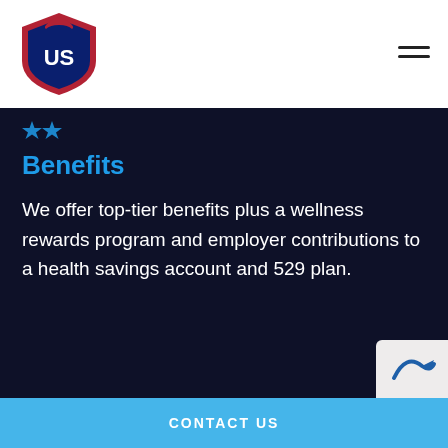US [logo]
Benefits
We offer top-tier benefits plus a wellness rewards program and employer contributions to a health savings account and 529 plan.
CONTACT US